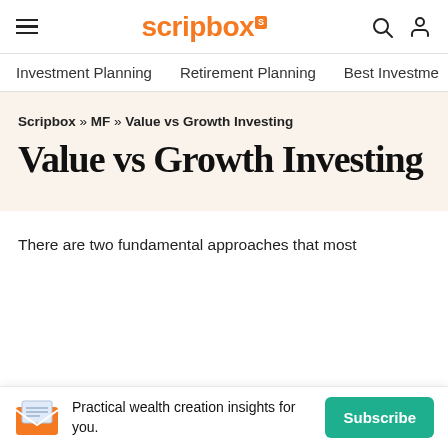Scripbox [S] | Investment Planning | Retirement Planning | Best Investme
Scripbox » MF » Value vs Growth Investing
Value vs Growth Investing
There are two fundamental approaches that most
Practical wealth creation insights for you.